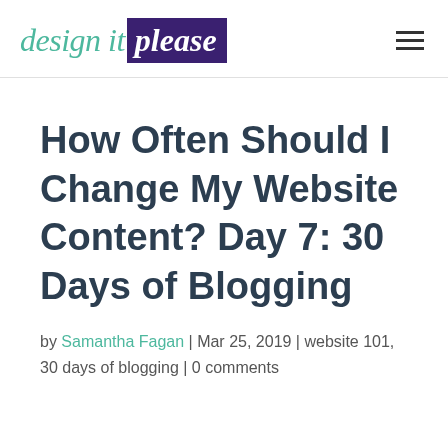design it please
How Often Should I Change My Website Content? Day 7: 30 Days of Blogging
by Samantha Fagan | Mar 25, 2019 | website 101, 30 days of blogging | 0 comments